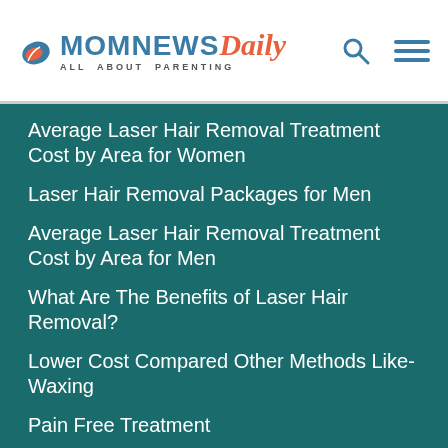[Figure (logo): Mom News Daily logo with leaf icon, teal MOM NEWS text, italic orange Daily, and tagline ALL ABOUT PARENTING]
Average Laser Hair Removal Treatment Cost by Area for Women
Laser Hair Removal Packages for Men
Average Laser Hair Removal Treatment Cost by Area for Men
What Are The Benefits of Laser Hair Removal?
Lower Cost Compared Other Methods Like-Waxing
Pain Free Treatment